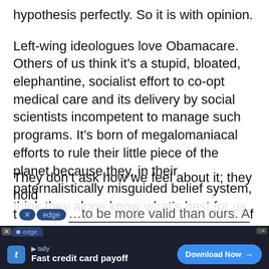hypothesis perfectly. So it is with opinion.
Left-wing ideologues love Obamacare. Others of us think it’s a stupid, bloated, elephantine, socialist effort to co-opt medical care and its delivery by social scientists incompetent to manage such programs. It’s born of megalomaniacal efforts to rule their little piece of the planet because they, in their paternalistically misguided belief system, think they alone know what’s best for us.
They don’t ask how we feel about it; they hold t[edge]...to be more valid than ours. A...
[Figure (screenshot): Dark advertisement bar at the bottom: Tally app ad with 'Fast credit card payoff' and 'Download Now' button, overlaid on the article text. Also shows an 'edge' browser tab badge overlapping the article text.]